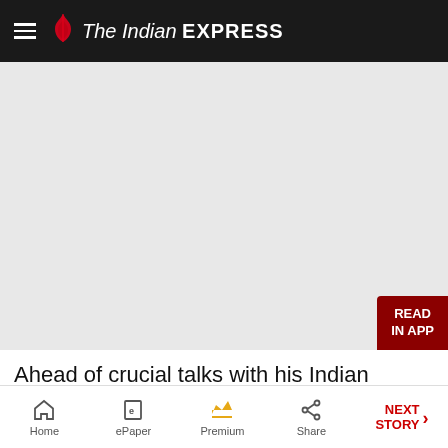The Indian EXPRESS
[Figure (photo): Light grey placeholder image area for an article photo]
Ahead of crucial talks with his Indian counterpart on Saturday,Pakistan's Prime Minister Nawaz Sharif said he was ousted from power in a military coup in 1999 because he started peace talks with
Home | ePaper | Premium | Share | NEXT STORY